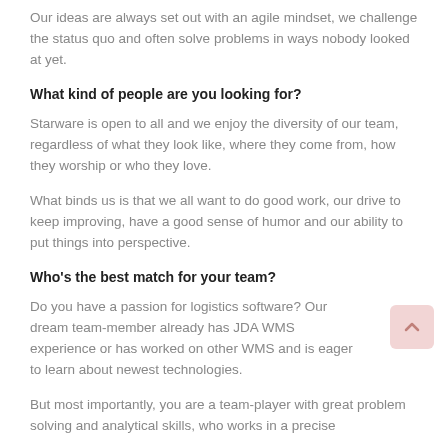Our ideas are always set out with an agile mindset, we challenge the status quo and often solve problems in ways nobody looked at yet.
What kind of people are you looking for?
Starware is open to all and we enjoy the diversity of our team, regardless of what they look like, where they come from, how they worship or who they love.
What binds us is that we all want to do good work, our drive to keep improving, have a good sense of humor and our ability to put things into perspective.
Who's the best match for your team?
Do you have a passion for logistics software? Our dream team-member already has JDA WMS experience or has worked on other WMS and is eager to learn about newest technologies.
But most importantly, you are a team-player with great problem solving and analytical skills, who works in a precise…